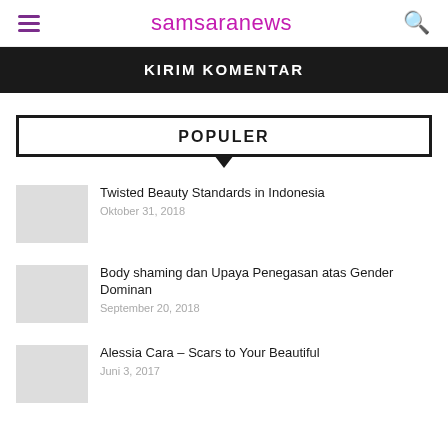samsaranews
KIRIM KOMENTAR
POPULER
Twisted Beauty Standards in Indonesia
Oktober 31, 2018
Body shaming dan Upaya Penegasan atas Gender Dominan
September 20, 2018
Alessia Cara – Scars to Your Beautiful
Juni 3, 2017